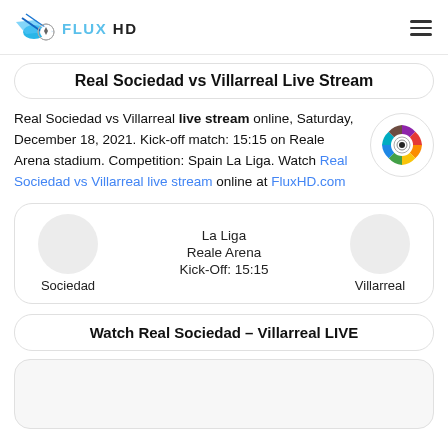FLUX HD
Real Sociedad vs Villarreal Live Stream
Real Sociedad vs Villarreal live stream online, Saturday, December 18, 2021. Kick-off match: 15:15 on Reale Arena stadium. Competition: Spain La Liga. Watch Real Sociedad vs Villarreal live stream online at FluxHD.com
[Figure (logo): La Liga colorful badge logo]
[Figure (infographic): Match info card: La Liga, Reale Arena, Kick-Off: 15:15, Sociedad vs Villarreal]
Watch Real Sociedad – Villarreal LIVE